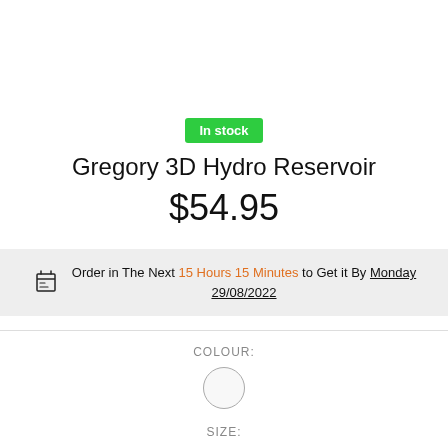In stock
Gregory 3D Hydro Reservoir
$54.95
Order in The Next 15 Hours 15 Minutes to Get it By Monday 29/08/2022
COLOUR:
[Figure (other): White/light grey circular colour swatch with grey border]
SIZE: